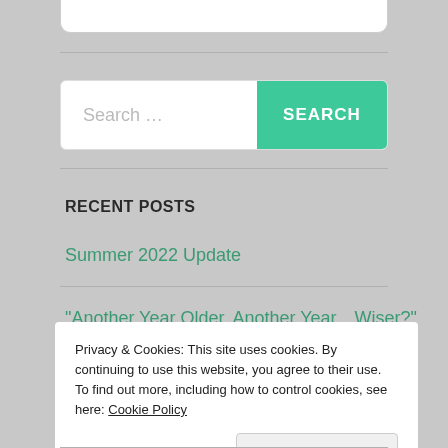[Figure (screenshot): Top portion of a rounded white input box (partially cropped at top)]
[Figure (screenshot): Search bar with placeholder text 'Search ...' and a green 'SEARCH' button]
RECENT POSTS
Summer 2022 Update
“Another Year Older, Another Year…Wiser?”
Privacy & Cookies: This site uses cookies. By continuing to use this website, you agree to their use.
To find out more, including how to control cookies, see here: Cookie Policy
Close and accept